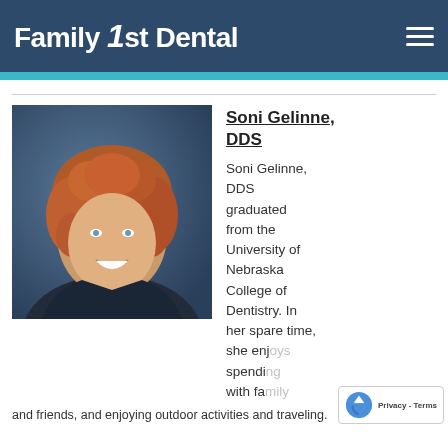Family 1st Dental
[Figure (photo): Professional headshot of Dr. Soni Gelinne DDS, a woman with curly reddish-brown hair, smiling, wearing a dark blazer, against a blue-grey studio background.]
Soni Gelinne, DDS
Soni Gelinne, DDS graduated from the University of Nebraska College of Dentistry. In her spare time, she enjoys spending with family...
and friends, and...